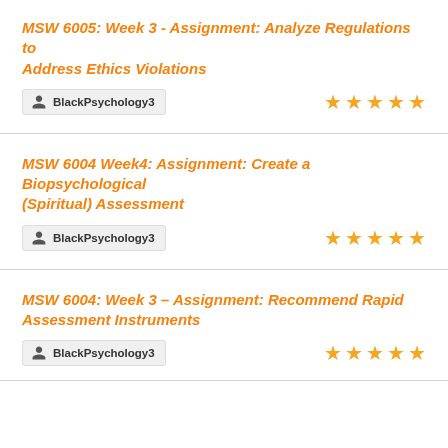MSW 6005: Week 3 - Assignment: Analyze Regulations to Address Ethics Violations
BlackPsychology3 — 5 stars
MSW 6004 Week4: Assignment: Create a Biopsychological (Spiritual) Assessment
BlackPsychology3 — 5 stars
MSW 6004: Week 3 – Assignment: Recommend Rapid Assessment Instruments
BlackPsychology3 — 5 stars